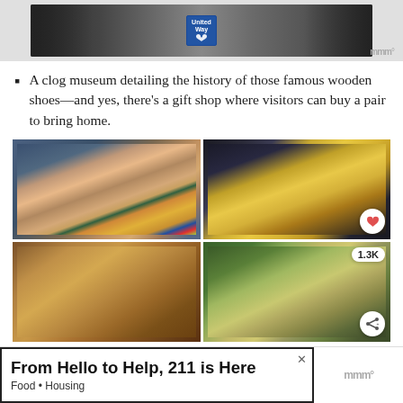[Figure (photo): Top portion of a photo showing people sitting, with a United Way logo/sign visible, cut off at top of page]
A clog museum detailing the history of those famous wooden shoes—and yes, there's a gift shop where visitors can buy a pair to bring home.
[Figure (photo): A 2x2 grid of photos showing various wooden clogs (Dutch shoes): top-left shows colorful clogs hung on a dark wall, top-right shows a glittering gold clog on a pedestal display, bottom-left shows carved wooden clogs in brown tones, bottom-right shows worn clogs outdoors in a garden/natural setting. A heart icon badge appears on top-right photo. A 1.3K count badge and share icon appear on bottom-right photo.]
From Hello to Help, 211 is Here
Food • Housing